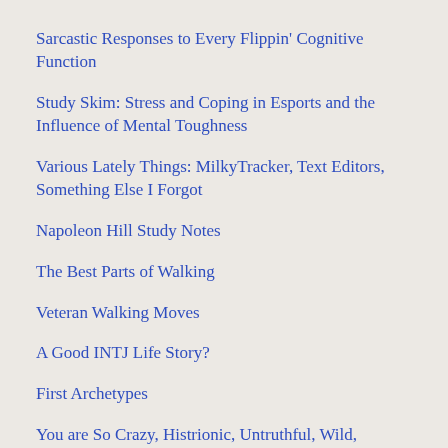Sarcastic Responses to Every Flippin' Cognitive Function
Study Skim: Stress and Coping in Esports and the Influence of Mental Toughness
Various Lately Things: MilkyTracker, Text Editors, Something Else I Forgot
Napoleon Hill Study Notes
The Best Parts of Walking
Veteran Walking Moves
A Good INTJ Life Story?
First Archetypes
You are So Crazy, Histrionic, Untruthful, Wild, Carefree, Improvisational, Performance-oriented,